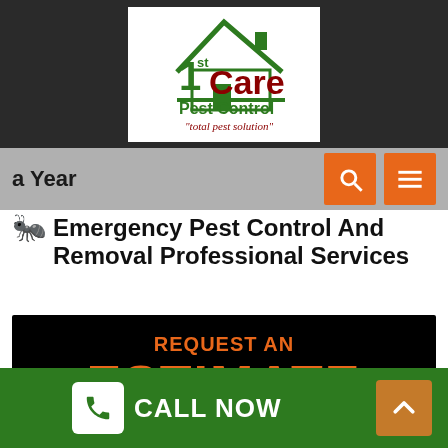[Figure (logo): 1st Care Pest Control logo with house icon, green and dark red colors, tagline 'total pest solution']
a Year
🐜 Emergency Pest Control And Removal Professional Services
[Figure (infographic): Black banner with orange text reading 'REQUEST AN ESTIMATE', subtext 'It's Fast and easy. Get your online quote today!' with a white input bar]
CALL NOW